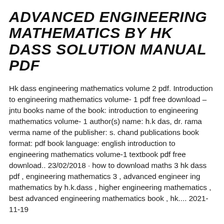ADVANCED ENGINEERING MATHEMATICS BY HK DASS SOLUTION MANUAL PDF
Hk dass engineering mathematics volume 2 pdf. Introduction to engineering mathematics volume- 1 pdf free download – jntu books name of the book: introduction to engineering mathematics volume- 1 author(s) name: h.k das, dr. rama verma name of the publisher: s. chand publications book format: pdf book language: english introduction to engineering mathematics volume-1 textbook pdf free download.. 23/02/2018 · how to download maths 3 hk dass pdf , engineering mathematics 3 , advanced engineer ing mathematics by h.k.dass , higher engineering mathematics , best advanced engineering mathematics book , hk.... 2021-11-19